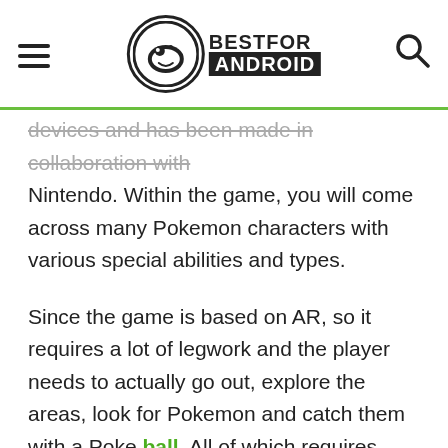BESTFOR ANDROID
devices and has been made in collaboration with Nintendo. Within the game, you will come across many Pokemon characters with various special abilities and types.
Since the game is based on AR, so it requires a lot of legwork and the player needs to actually go out, explore the areas, look for Pokemon and catch them with a Poke ball. All of which requires dedication and hard work. The other option is to use the Pokemon Go mod apk, which consists of several working tricks and hacks that help you quickly progress in the game, without actually ever leaving your home.
You can reach new levels in the game by completing